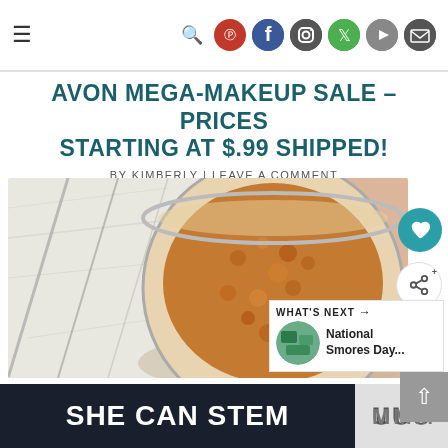Navigation bar with hamburger menu and social icons: search, Pinterest, Facebook, Instagram, Twitter, YouTube, Email
AVON MEGA-MAKEUP SALE – PRICES STARTING AT $.99 SHIPPED!
BY KIMBERLY | LEAVE A COMMENT
[Figure (photo): Overhead photo of a glass jar filled with brown sugar or scrub on a white marble surface]
WHAT'S NEXT → National Smores Day...
SHE CAN STEM
[Figure (logo): Small logo on right bottom banner]